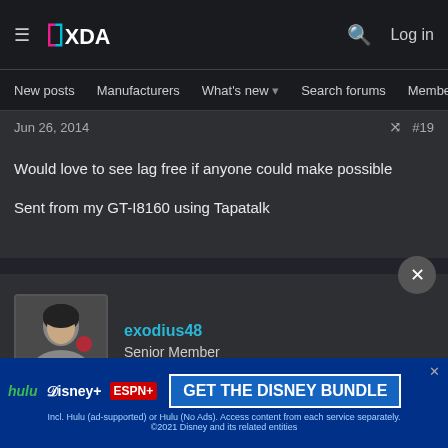XDA Developers — Navigation: New posts, Manufacturers, What's new, Search forums, Members
Jun 26, 2014   #19
Would love to see lag free if anyone could make possible

Sent from my GT-I8160 using Tapatalk
exodius48
Senior Member
Jun 26, 2014   #20
1. Compa...
2. Whats...
[Figure (infographic): Hulu Disney+ ESPN+ GET THE DISNEY BUNDLE advertisement banner]